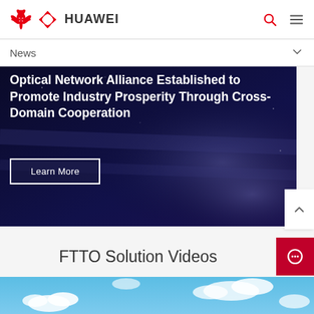HUAWEI
News
[Figure (screenshot): Dark blue banner showing headline: Optical Network Alliance Established to Promote Industry Prosperity Through Cross-Domain Cooperation, with a Learn More button]
FTTO Solution Videos
[Figure (photo): Blue sky with clouds, video thumbnail]